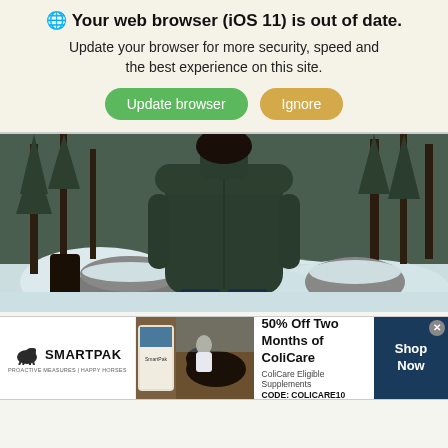🌐 Your web browser (iOS 11) is out of date. Update your browser for more security, speed and the best experience on this site.
[Figure (photo): Person wearing a dark green jacket viewed from behind, standing in a snowy winter forest scene with trees and snow-covered rocks in the background.]
The Aurora sheds rain well.  Even if you're out in the
[Figure (infographic): SmartPak advertisement banner: 50% Off Two Months of ColiCare, ColiCare Eligible Supplements, CODE: COLICARE10, with Shop Now button and horse/rider image.]